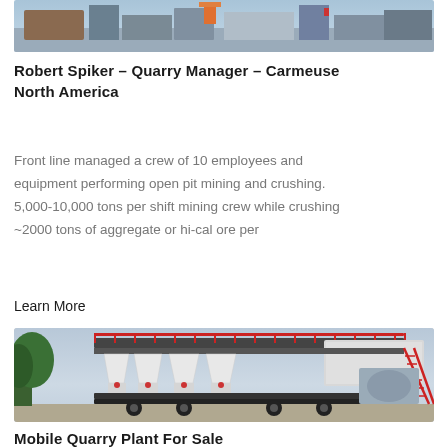[Figure (photo): Partial top photo of industrial/quarry equipment, partially cropped at top of page]
Robert Spiker – Quarry Manager – Carmeuse North America
Front line managed a crew of 10 employees and equipment performing open pit mining and crushing. 5,000-10,000 tons per shift mining crew while crushing ~2000 tons of aggregate or hi-cal ore per
Learn More
[Figure (photo): Photo of a Mobile Quarry Plant – white industrial aggregate batching/processing equipment with red railings and ladders, mounted on a trailer frame, outdoors]
Mobile Quarry Plant For Sale